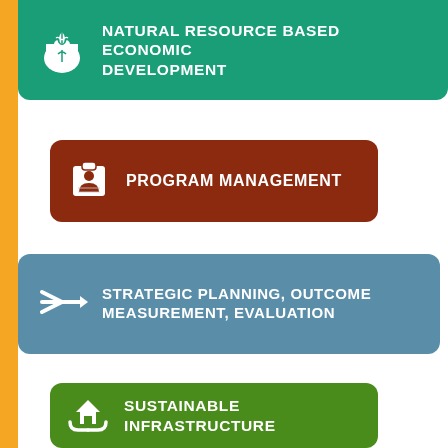[Figure (infographic): Green banner with bag/wheat icon: NATURAL RESOURCE BASED ECONOMIC DEVELOPMENT]
[Figure (infographic): Brown rounded rectangle with clipboard/person icon: PROGRAM MANAGEMENT]
[Figure (infographic): Blue-grey rounded rectangle with arrows icon: STRATEGIC PLANNING, OUTCOME MEASUREMENT, EVALUATION]
[Figure (infographic): Green rounded rectangle with house/hands icon: SUSTAINABLE INFRASTRUCTURE]